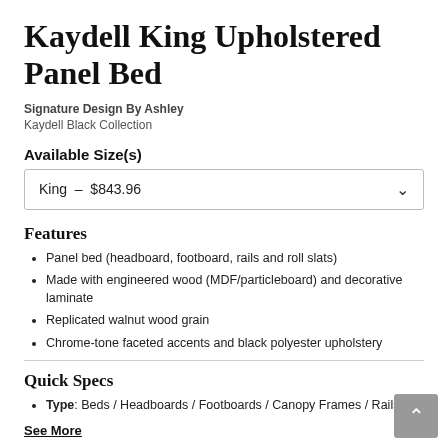Kaydell King Upholstered Panel Bed
Signature Design By Ashley
Kaydell Black Collection
Available Size(s)
King  –  $843.96
Features
Panel bed (headboard, footboard, rails and roll slats)
Made with engineered wood (MDF/particleboard) and decorative laminate
Replicated walnut wood grain
Chrome-tone faceted accents and black polyester upholstery
Quick Specs
Type: Beds / Headboards / Footboards / Canopy Frames / Rails
See More